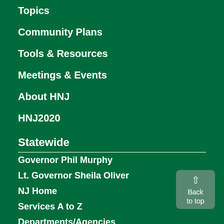Topics
Community Plans
Tools & Resources
Meetings & Events
About HNJ
HNJ2020
Statewide
Governor Phil Murphy
Lt. Governor Sheila Oliver
NJ Home
Services A to Z
Departments/Agencies
Contact Us